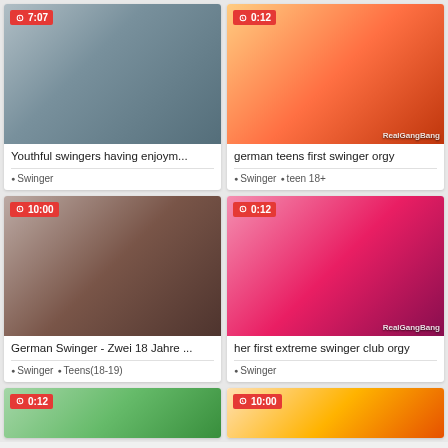[Figure (screenshot): Video thumbnail grid showing adult content video cards with thumbnails, duration badges, titles and category tags]
Youthful swingers having enjoym...
Swinger
german teens first swinger orgy
Swinger • teen 18+
German Swinger - Zwei 18 Jahre ...
Swinger • Teens(18-19)
her first extreme swinger club orgy
Swinger